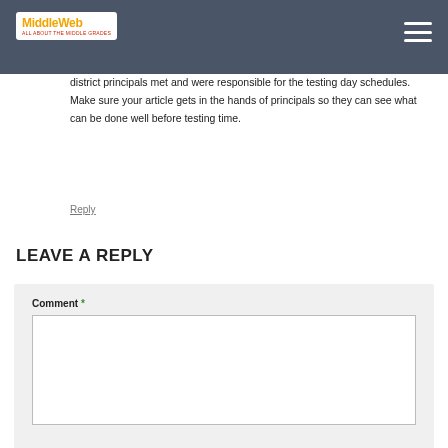MiddleWeb
district principals met and were responsible for the testing day schedules. Make sure your article gets in the hands of principals so they can see what can be done well before testing time.
Reply
LEAVE A REPLY
Comment *
Name *
Email *